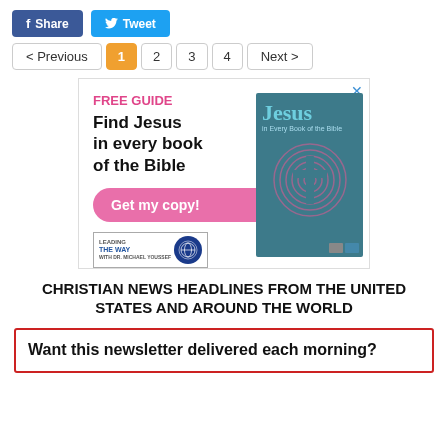[Figure (screenshot): Social share buttons: blue Facebook Share button and light-blue Twitter Tweet button]
[Figure (screenshot): Pagination bar with < Previous, 1 (active/orange), 2, 3, 4, Next > buttons]
[Figure (infographic): Advertisement for a free guide: 'Find Jesus in every book of the Bible' with a book cover showing 'Jesus in Every Book of the Bible', a pink 'Get my copy!' button, and Leading The Way logo]
CHRISTIAN NEWS HEADLINES FROM THE UNITED STATES AND AROUND THE WORLD
Want this newsletter delivered each morning?